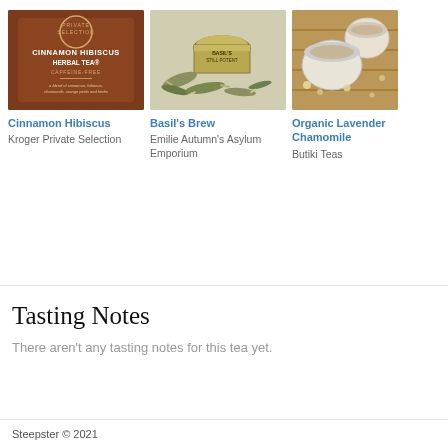[Figure (photo): Cinnamon Hibiscus Herbal Tea box - Kroger Private Selection, brown packaging]
Cinnamon Hibiscus
Kroger Private Selection
[Figure (photo): Basil's Brew tea tin spilled open with loose leaf tea]
Basil's Brew
Emilie Autumn's Asylum Emporium
[Figure (photo): Organic Lavender Chamomile tea with ceramic cups and loose dried flowers on bamboo mat]
Organic Lavender Chamomile
Butiki Teas
Tasting Notes
There aren't any tasting notes for this tea yet.
Steepster © 2021